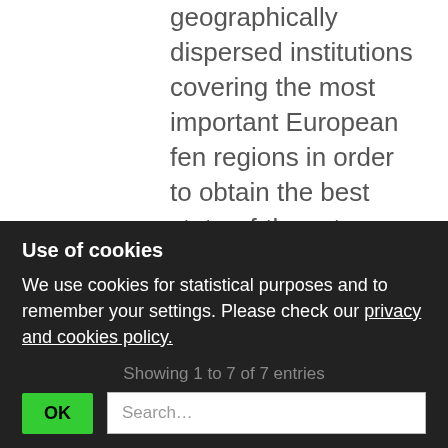geographically dispersed institutions covering the most important European fen regions in order to obtain the best state-of-the-art knowledge of processes that contribute to fen peat accumulation.
Network   BiodivERsA3
Call   BiodivERsA3 Joint Call 2015
Use of cookies
We use cookies for statistical purposes and to remember your settings. Please check our privacy and cookies policy.
Showing 1 to 7 of 7 entries